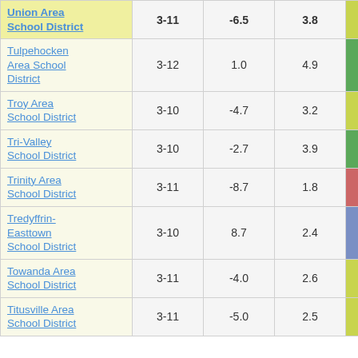| District | Grades | Col3 | Col4 | Score |  |
| --- | --- | --- | --- | --- | --- |
| Union Area School District | 3-11 | -6.5 | 3.8 | -1.70 |  |
| Tulpehocken Area School District | 3-12 | 1.0 | 4.9 | 0.20 |  |
| Troy Area School District | 3-10 | -4.7 | 3.2 | -1.46 |  |
| Tri-Valley School District | 3-10 | -2.7 | 3.9 | -0.69 |  |
| Trinity Area School District | 3-11 | -8.7 | 1.8 | -4.87 |  |
| Tredyffrin-Easttown School District | 3-10 | 8.7 | 2.4 | 3.57 |  |
| Towanda Area School District | 3-11 | -4.0 | 2.6 | -1.52 |  |
| Titusville Area School District | 3-11 | -5.0 | 2.5 | -1.98 |  |